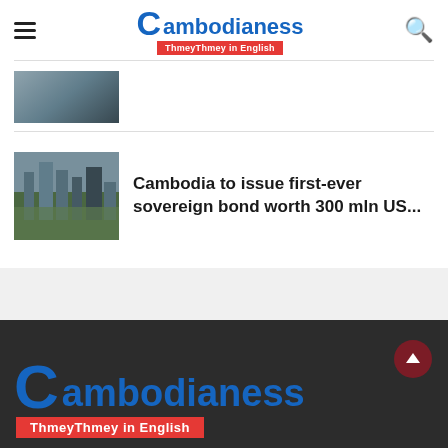[Figure (logo): Cambodianess ThmeyThmey in English logo in header]
[Figure (photo): Partially visible thumbnail of a bridge/aerial scene at top]
[Figure (photo): City skyline thumbnail photo]
Cambodia to issue first-ever sovereign bond worth 300 mln US...
[Figure (logo): Cambodianess ThmeyThmey in English large footer logo on dark background]